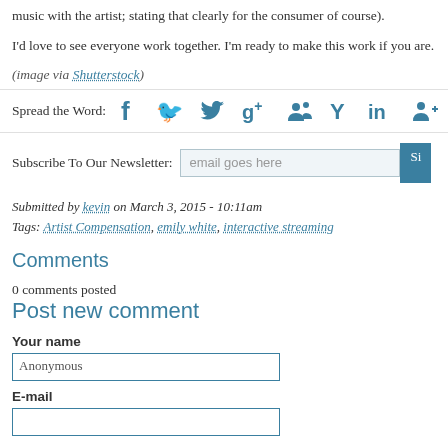music with the artist; stating that clearly for the consumer of course).
I'd love to see everyone work together. I'm ready to make this work if you are.
(image via Shutterstock)
Spread the Word: [social icons: Facebook, Twitter, Google+, MySpace, Yahoo, LinkedIn, other]
Subscribe To Our Newsletter: email goes here [Sign button]
Submitted by kevin on March 3, 2015 - 10:11am
Tags: Artist Compensation, emily white, interactive streaming
Comments
0 comments posted
Post new comment
Your name
Anonymous
E-mail